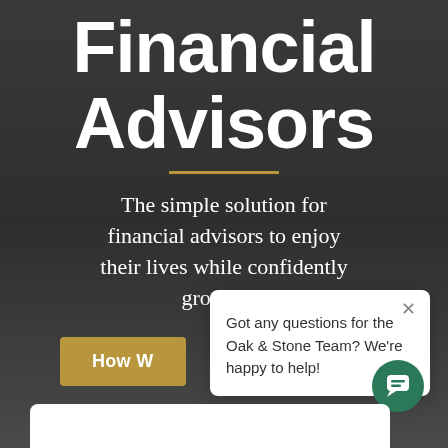Financial Advisors
The simple solution for financial advisors to enjoy their lives while confidently growing t[heir practices]
How W[e Work]
[Figure (screenshot): Chat popup overlay with text: Got any questions for the Oak & Stone Team? We're happy to help! with a close (x) button]
[Figure (other): Green circular chat icon button in bottom right corner]
[Figure (other): White card/panel at bottom of page, partially visible]